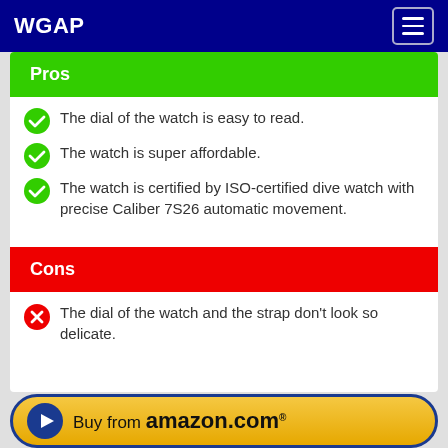WGAP
Pros
The dial of the watch is easy to read.
The watch is super affordable.
The watch is certified by ISO-certified dive watch with precise Caliber 7S26 automatic movement.
Cons
The dial of the watch and the strap don't look so delicate.
[Figure (other): Buy from amazon.com button with play icon]